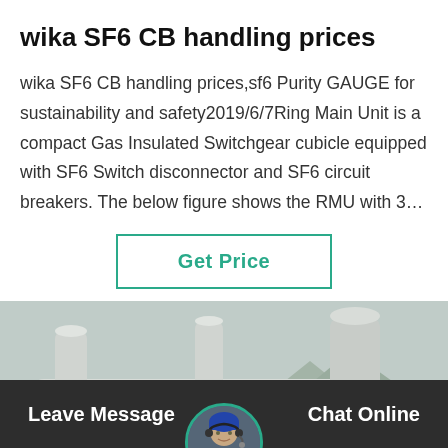wika SF6 CB handling prices
wika SF6 CB handling prices,sf6 Purity GAUGE for sustainability and safety2019/6/7Ring Main Unit is a compact Gas Insulated Switchgear cubicle equipped with SF6 Switch disconnector and SF6 circuit breakers. The below figure shows the RMU with 3…
[Figure (other): Button labeled Get Price with teal/green border]
[Figure (photo): Industrial SF6 gas insulated switchgear equipment outdoors, showing large pipes/cylinders mounted on a structure, mountainous background, with a customer service representative overlay at bottom]
Leave Message   Chat Online